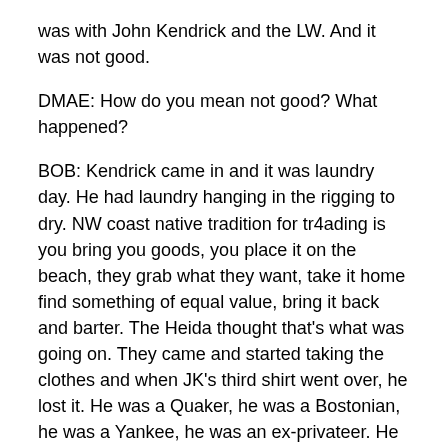was with John Kendrick and the LW. And it was not good.
DMAE: How do you mean not good? What happened?
BOB: Kendrick came in and it was laundry day. He had laundry hanging in the rigging to dry. NW coast native tradition for tr4ading is you bring you goods, you place it on the beach, they grab what they want, take it home find something of equal value, bring it back and barter. The Heida thought that’s what was going on. They came and started taking the clothes and when JK’s third shirt went over, he lost it. He was a Quaker, he was a Bostonian, he was a Yankee, he was an ex-privateer. He had a strong sense of justice. He stormed into the city of Skeguay and rounded up the chief, Quoya, and one of the highborn males. He brought them back on board and lashed them to the guns, he tarred them and cut their hair. And there are only two times a traditional Heida cuts his hair – when